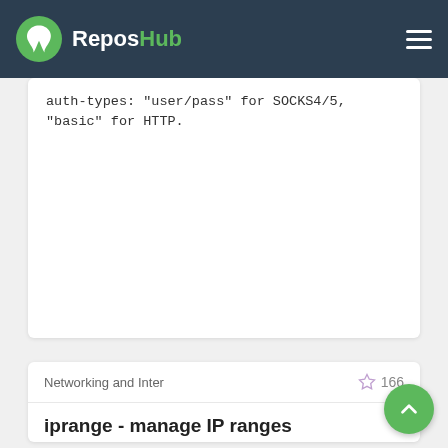ReposHub
auth-types: "user/pass" for SOCKS4/5, "basic" for HTTP.
Networking and Inter
166
iprange - manage IP ranges
iprange - manage IP ranges